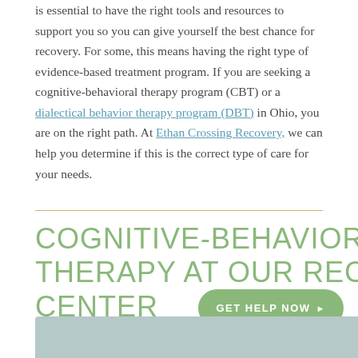is essential to have the right tools and resources to support you so you can give yourself the best chance for recovery. For some, this means having the right type of evidence-based treatment program. If you are seeking a cognitive-behavioral therapy program (CBT) or a dialectical behavior therapy program (DBT) in Ohio, you are on the right path. At Ethan Crossing Recovery, we can help you determine if this is the correct type of care for your needs.
COGNITIVE-BEHAVIORAL THERAPY AT OUR RECOVERY CENTER
[Figure (photo): Partial view of a muted teal/grey image strip at the bottom of the page]